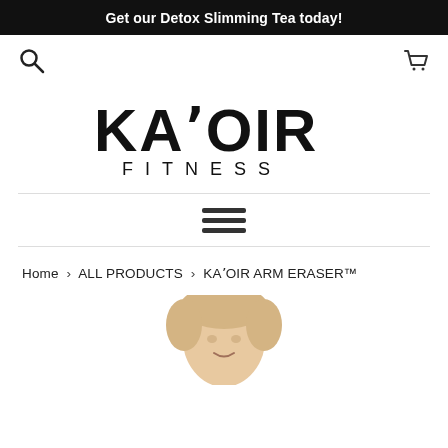Get our Detox Slimming Tea today!
[Figure (logo): KA'OIR FITNESS logo in bold black uppercase lettering]
Home › ALL PRODUCTS › KA'OIR ARM ERASER™
[Figure (photo): Person with blonde hair, partially visible at bottom of page]